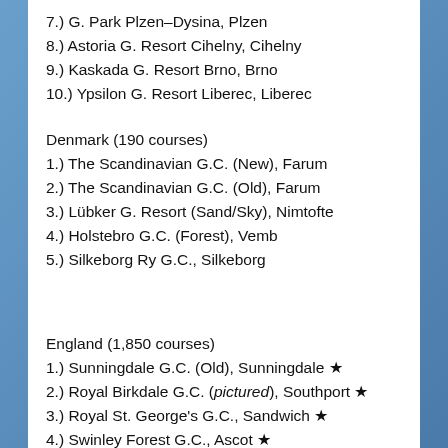7.) G. Park Plzen–Dysina, Plzen
8.) Astoria G. Resort Cihelny, Cihelny
9.) Kaskada G. Resort Brno, Brno
10.) Ypsilon G. Resort Liberec, Liberec
Denmark (190 courses)
1.) The Scandinavian G.C. (New), Farum
2.) The Scandinavian G.C. (Old), Farum
3.) Lübker G. Resort (Sand/Sky), Nimtofte
4.) Holstebro G.C. (Forest), Vemb
5.) Silkeborg Ry G.C., Silkeborg
England (1,850 courses)
1.) Sunningdale G.C. (Old), Sunningdale ★
2.) Royal Birkdale G.C. (pictured), Southport ★
3.) Royal St. George's G.C., Sandwich ★
4.) Swinley Forest G.C., Ascot ★